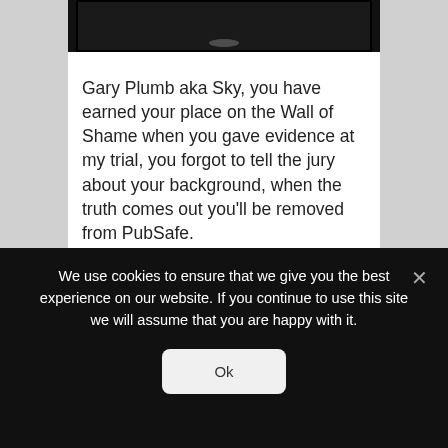[Figure (photo): Partial photograph at top of page, mostly dark/black with slight gradient, cropped at top]
Gary Plumb aka Sky, you have earned your place on the Wall of Shame when you gave evidence at my trial, you forgot to tell the jury about your background, when the truth comes out you’ll be removed from PubSafe.
[Figure (photo): Close-up photograph of a middle-aged man with short hair against a black background, face cropped at bottom]
We use cookies to ensure that we give you the best experience on our website. If you continue to use this site we will assume that you are happy with it.